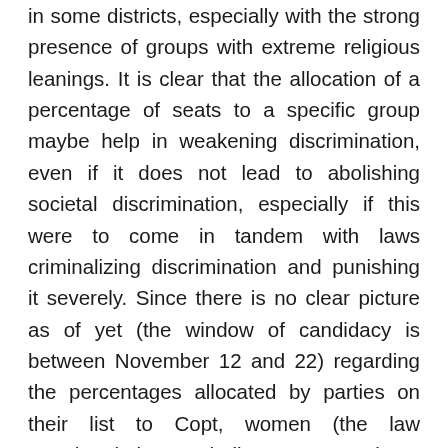in some districts, especially with the strong presence of groups with extreme religious leanings. It is clear that the allocation of a percentage of seats to a specific group maybe help in weakening discrimination, even if it does not lead to abolishing societal discrimination, especially if this were to come in tandem with laws criminalizing discrimination and punishing it severely. Since there is no clear picture as of yet (the window of candidacy is between November 12 and 22) regarding the percentages allocated by parties on their list to Copt, women (the law mandated that each list must contain at least one female candidate), and the youth, it may be crucial to require parties to maintain a just and effective representation of these groups on their list; otherwise, representation would be symbolic or a matter of formality. Qualitative and just representation of citizens, including Copts, in the lists of parties and political factions is among the foremost means to